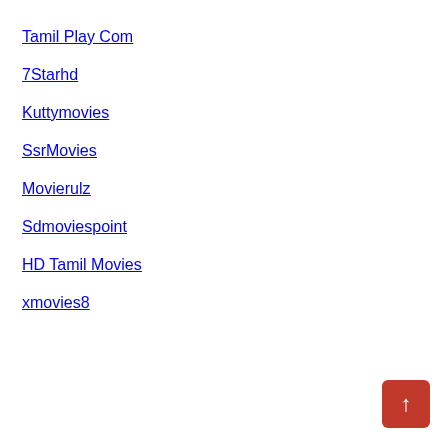Tamil Play Com
7Starhd
Kuttymovies
SsrMovies
Movierulz
Sdmoviespoint
HD Tamil Movies
xmovies8